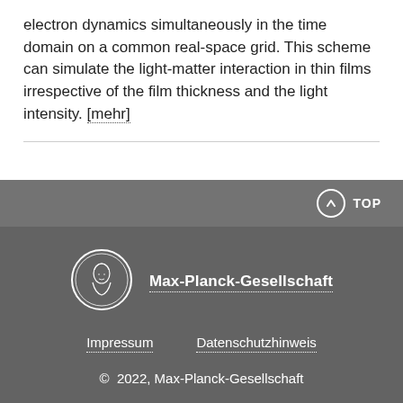electron dynamics simultaneously in the time domain on a common real-space grid. This scheme can simulate the light-matter interaction in thin films irrespective of the film thickness and the light intensity. [mehr]
TOP
[Figure (logo): Max-Planck-Gesellschaft circular medallion logo with profile portrait, white outline on dark grey background]
Max-Planck-Gesellschaft
Impressum    Datenschutzhinweis
© 2022, Max-Planck-Gesellschaft